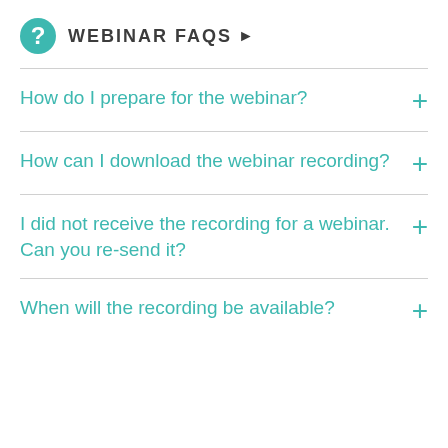WEBINAR FAQS
How do I prepare for the webinar?
How can I download the webinar recording?
I did not receive the recording for a webinar. Can you re-send it?
When will the recording be available?